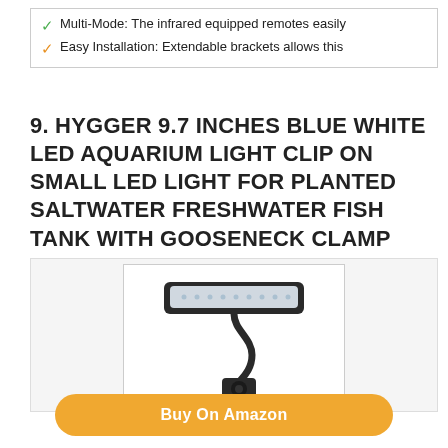✓ Multi-Mode: The infrared equipped remotes easily
✓ Easy Installation: Extendable brackets allows this
9. HYGGER 9.7 INCHES BLUE WHITE LED AQUARIUM LIGHT CLIP ON SMALL LED LIGHT FOR PLANTED SALTWATER FRESHWATER FISH TANK WITH GOOSENECK CLAMP 13W
[Figure (photo): Product photo of a black aquarium LED light with gooseneck clamp mount]
Buy On Amazon